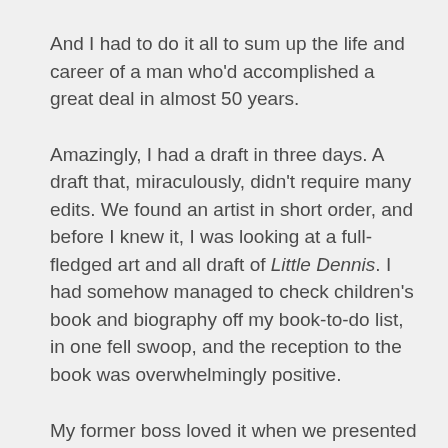And I had to do it all to sum up the life and career of a man who'd accomplished a great deal in almost 50 years.
Amazingly, I had a draft in three days. A draft that, miraculously, didn't require many edits. We found an artist in short order, and before I knew it, I was looking at a full-fledged art and all draft of Little Dennis. I had somehow managed to check children's book and biography off my book-to-do list, in one fell swoop, and the reception to the book was overwhelmingly positive.
My former boss loved it when we presented it to him at his roast. Those in attendance also received a copy, and they were as effusive in their praise as he had been.